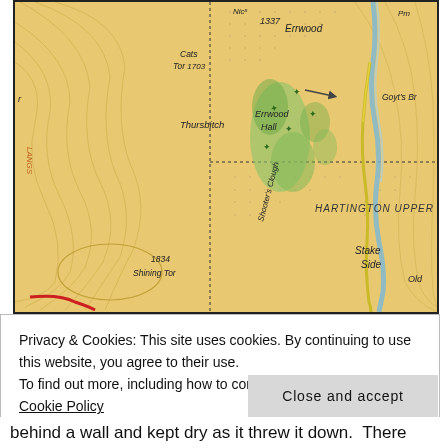[Figure (map): An old topographic map excerpt showing features including Cats Tor 1703, Thursbitch, Errwood (1337), Errwood Hall, Shooter's Clough, Hartington Upper, Shining Tor 1834, Stake Side, Gayt's Br, and Old. The map has yellow/tan coloring with contour lines, green vegetation areas, and a blue river/stream.]
Privacy & Cookies: This site uses cookies. By continuing to use this website, you agree to their use.
To find out more, including how to control cookies, see here: Cookie Policy
Close and accept
behind a wall and kept dry as it threw it down.  There